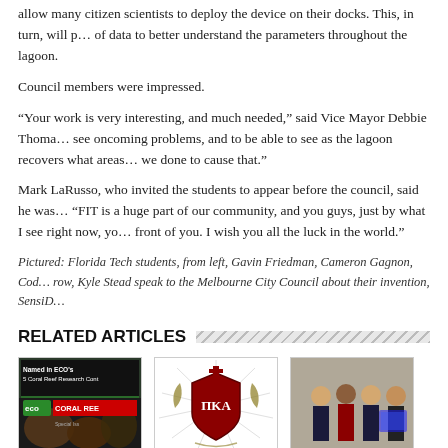allow many citizen scientists to deploy the device on their docks. This, in turn, will provide a wealth of data to better understand the parameters throughout the lagoon.
Council members were impressed.
“Your work is very interesting, and much needed,” said Vice Mayor Debbie Thomas. “To be able to see oncoming problems, and to be able to see as the lagoon recovers what areas recover and what we done to cause that.”
Mark LaRusso, who invited the students to appear before the council, said he was “thrilled.” “FIT is a huge part of our community, and you guys, just by what I see right now, you have a great future in front of you. I wish you all the luck in the world.”
Pictured: Florida Tech students, from left, Gavin Friedman, Cameron Gagnon, Cody Gagnon and back row, Kyle Stead speak to the Melbourne City Council about their invention, SensiD…
RELATED ARTICLES
[Figure (photo): Thumbnail image labeled 'Named in ECO’s 5 Coral Reef Research Contributions' showing an ECO magazine Coral Reef Special Issue cover]
[Figure (logo): Thumbnail image showing the Pi Kappa Alpha (PKA) fraternity crest/logo with ornate design]
[Figure (photo): Thumbnail image showing a group of people posing together in formal attire, appears to be an award or recognition photo]